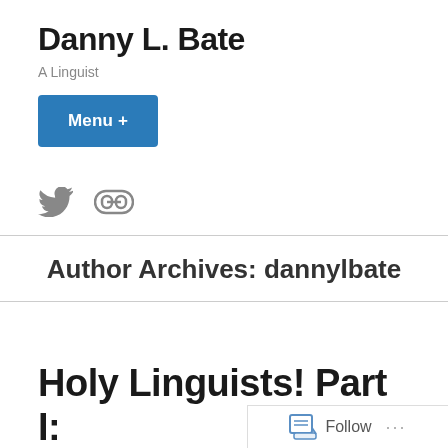Danny L. Bate
A Linguist
[Figure (screenshot): Blue button labeled 'Menu +']
[Figure (screenshot): Social icons: Twitter bird icon and a link/chain icon]
Author Archives: dannylbate
Holy Linguists! Part I:
Gregory of Nyssa...
[Figure (screenshot): Follow bar with icon, 'Follow' text and '...' menu dots]